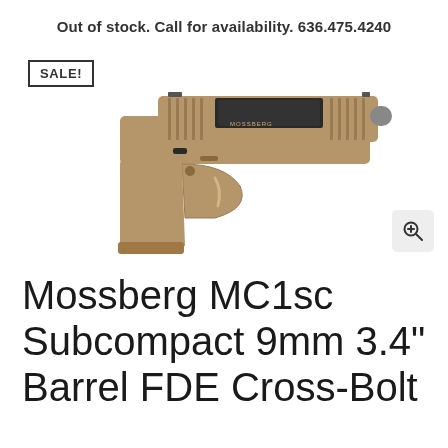Out of stock. Call for availability. 636.475.4240
SALE!
[Figure (photo): A Mossberg MC1sc subcompact pistol in FDE (Flat Dark Earth) finish with black slide accents, shown in profile view against a white background.]
Mossberg MC1sc Subcompact 9mm 3.4" Barrel FDE Cross-Bolt